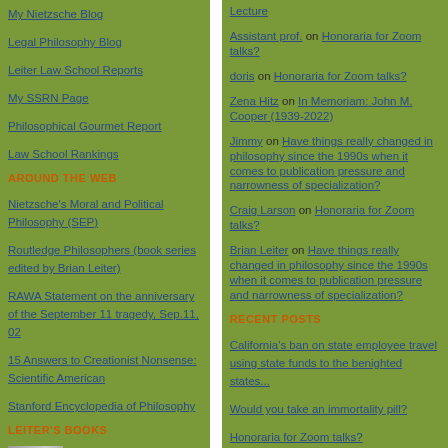My Nietzsche Blog
Legal Philosophy Blog
Leiter Law School Reports
My SSRN Page
Philosophical Gourmet Report
Law School Rankings
AROUND THE WEB
Nietzsche's Moral and Political Philosophy (SEP)
Routledge Philosophers (book series edited by Brian Leiter)
RAWA Statement on the anniversary of the September 11 tragedy, Sep.11, 02
15 Answers to Creationist Nonsense: Scientific American
Stanford Encyclopedia of Philosophy
LEITER'S BOOKS
Nietzsche on
Assistant prof. on Honoraria for Zoom talks?
doris on Honoraria for Zoom talks?
Zena Hitz on In Memoriam: John M. Cooper (1939-2022)
Jimmy on Have things really changed in philosophy since the 1990s when it comes to publication pressure and narrowness of specialization?
Craig Larson on Honoraria for Zoom talks?
Brian Leiter on Have things really changed in philosophy since the 1990s when it comes to publication pressure and narrowness of specialization?
RECENT POSTS
California's ban on state employee travel using state funds to the benighted states...
Would you take an immortality pill?
Honoraria for Zoom talks?